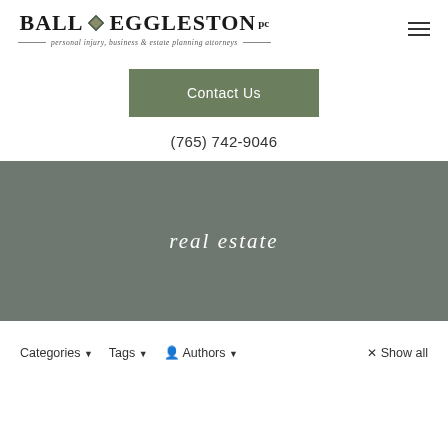Ball Eggleston PC — personal injury, business & estate planning attorneys
Contact Us
(765) 742-9046
[Figure (photo): Gray banner background with italic text 'real estate' overlaid in white]
real estate
Categories ▼   Tags ▼   Authors ▼   × Show all